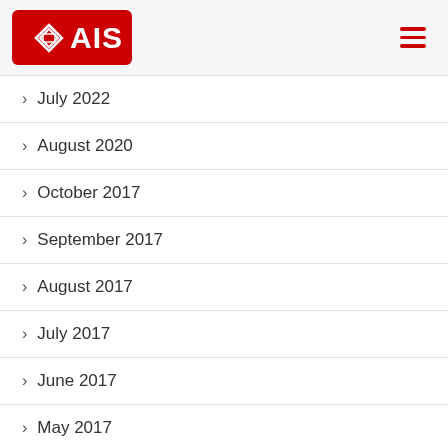AIS logo and navigation menu
July 2022
August 2020
October 2017
September 2017
August 2017
July 2017
June 2017
May 2017